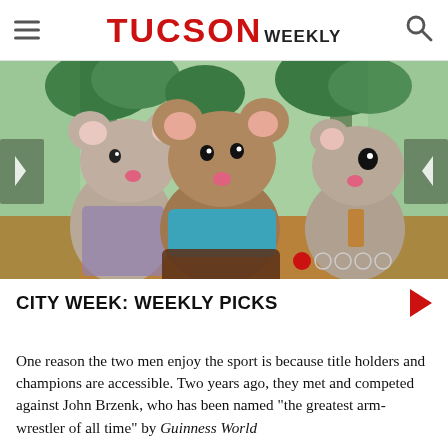TUCSON WEEKLY
[Figure (photo): Three needle-felted mouse puppets dressed in colorful outfits, posed in front of a background with felt green leaves and tree trunks. The center mouse wears a teal top and brown skirt, the left mouse wears a floral outfit, and the right mouse wears an orange necktie. Carousel navigation arrows and dot indicators are visible.]
CITY WEEK: WEEKLY PICKS
One reason the two men enjoy the sport is because title holders and champions are accessible. Two years ago, they met and competed against John Brzenk, who has been named "the greatest arm-wrestler of all time" by Guinness World